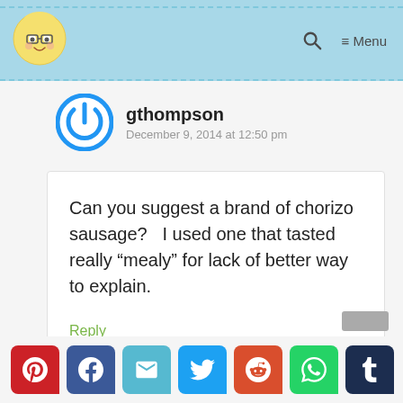gthompson blog header with navigation menu
gthompson
December 9, 2014 at 12:50 pm
Can you suggest a brand of chorizo sausage?   I used one that tasted really “mealy” for lack of better way to explain.
Reply
[Figure (screenshot): Social share buttons: Pinterest, Facebook, Email, Twitter, Reddit, WhatsApp, Tumblr]